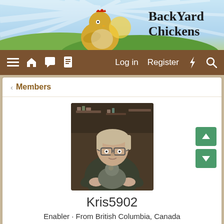[Figure (screenshot): BackYard Chickens website header with logo showing a hen and landscape, with sunray background in blue and green tones]
BackYard Chickens — Log in   Register
< Members
[Figure (photo): Profile photo of a person wearing glasses holding a chicken, in a room with shelves]
Kris5902
Enabler · From British Columbia, Canada
Joined: Oct 12, 2018
Last seen: Wednesday at 12:24 PM
| Messages | Reaction score | Points | Medals |
| --- | --- | --- | --- |
| 6,086 | 48,401 | 1,022 | 1 |